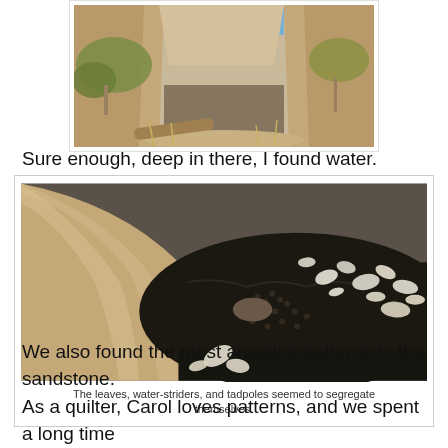[Figure (photo): A desert canyon scene with sandy rock walls, sparse desert scrub vegetation, and dry brush. A narrow passage leads into shadow between sandstone cliffs with blue sky visible at top.]
Sure enough, deep in there, I found water.
[Figure (photo): Close-up of a rock pool or pothole filled with dark water. Leaves, water-striders, and tadpoles are visible on the surface, appearing to group separately. Smooth curving sandstone walls are visible above.]
The leaves, water-striders, and tadpoles seemed to segregate themselves.
We also found the most amazing patterns in the sandstone. As a quilter, Carol loves patterns, and we spent a long time